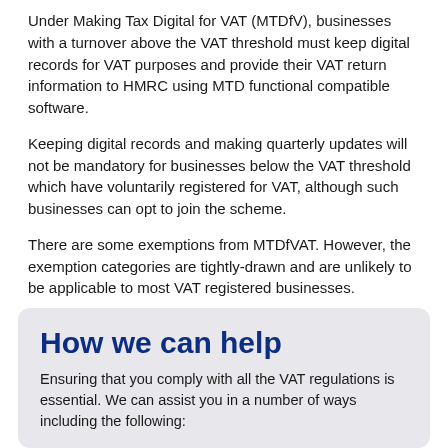Under Making Tax Digital for VAT (MTDfV), businesses with a turnover above the VAT threshold must keep digital records for VAT purposes and provide their VAT return information to HMRC using MTD functional compatible software.
Keeping digital records and making quarterly updates will not be mandatory for businesses below the VAT threshold which have voluntarily registered for VAT, although such businesses can opt to join the scheme.
There are some exemptions from MTDfVAT. However, the exemption categories are tightly-drawn and are unlikely to be applicable to most VAT registered businesses.
How we can help
Ensuring that you comply with all the VAT regulations is essential. We can assist you in a number of ways including the following: